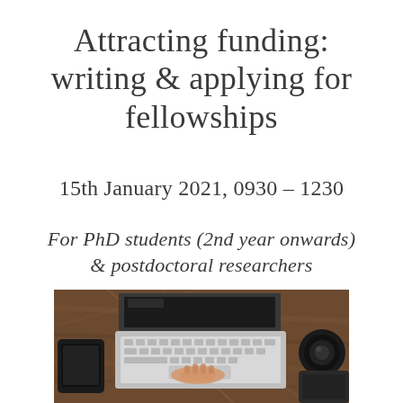Attracting funding: writing & applying for fellowships
15th January 2021, 0930 – 1230
For PhD students (2nd year onwards) & postdoctoral researchers
[Figure (photo): Overhead/top-down photo of a person typing on a MacBook laptop on a wooden desk, with a smartphone and camera lens visible to the sides]